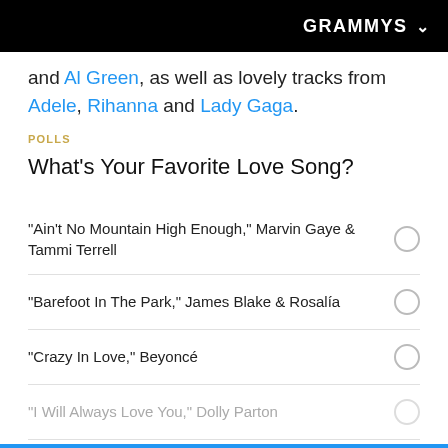GRAMMYS
and Al Green, as well as lovely tracks from Adele, Rihanna and Lady Gaga.
POLLS
What's Your Favorite Love Song?
"Ain't No Mountain High Enough," Marvin Gaye & Tammi Terrell
"Barefoot In The Park," James Blake & Rosalía
"Crazy In Love," Beyoncé
"I Will Always Love You," Dolly Parton
"Latch," Disclosure and Sam Smith